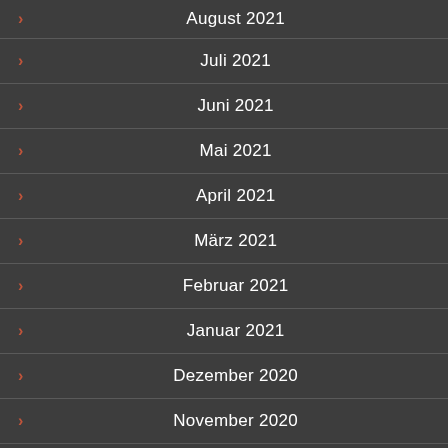August 2021
Juli 2021
Juni 2021
Mai 2021
April 2021
März 2021
Februar 2021
Januar 2021
Dezember 2020
November 2020